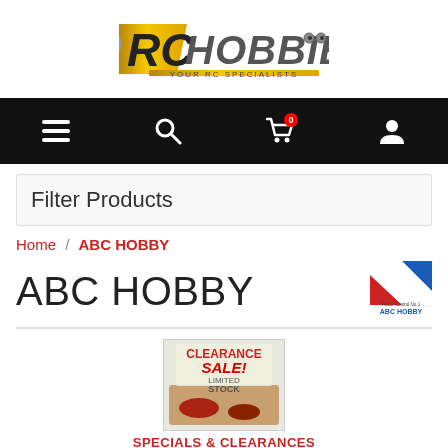[Figure (logo): RC Hobbies logo with yellow and grey text, 'YOUR RC SPECIALISTS' tagline]
[Figure (infographic): Black navigation bar with hamburger menu, search, shopping cart with 0 badge, and user account icons]
Filter Products
Home / ABC HOBBY
ABC HOBBY
[Figure (logo): ABC Hobby brand logo - blue and red diagonal stripes]
[Figure (photo): Clearance Sale Limited Stock product thumbnail image]
SPECIALS & CLEARANCES